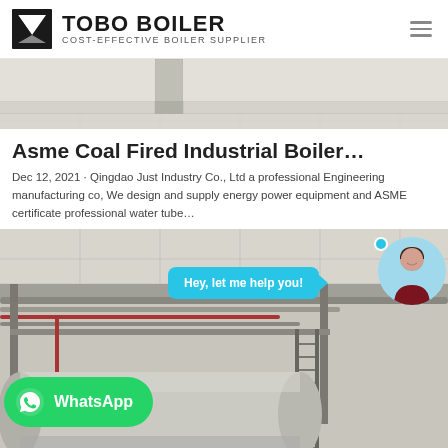TOBO BOILER — COST-EFFECTIVE BOILER SUPPLIER
[Figure (photo): Interior floor/wall photo of industrial facility, partially visible at top of page]
Asme Coal Fired Industrial Boiler…
Dec 12, 2021 · Qingdao Just Industry Co., Ltd a professional Engineering manufacturing co, We design and supply energy power equipment and ASME certificate professional water tube…
[Figure (photo): Industrial boiler installation photo with overhead pipes, ladder, and large cylindrical tank. Overlaid with a chat bubble saying 'Hey, let me help you!', an avatar circle, and a WhatsApp button.]